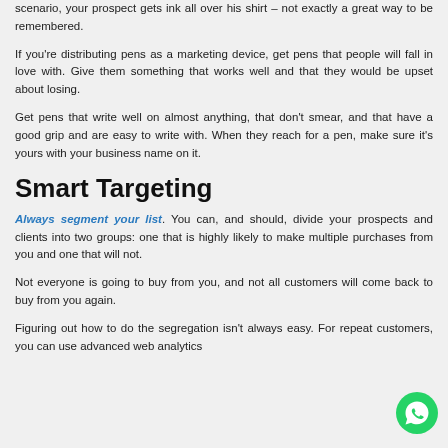scenario, your prospect gets ink all over his shirt – not exactly a great way to be remembered.
If you're distributing pens as a marketing device, get pens that people will fall in love with. Give them something that works well and that they would be upset about losing.
Get pens that write well on almost anything, that don't smear, and that have a good grip and are easy to write with. When they reach for a pen, make sure it's yours with your business name on it.
Smart Targeting
Always segment your list. You can, and should, divide your prospects and clients into two groups: one that is highly likely to make multiple purchases from you and one that will not.
Not everyone is going to buy from you, and not all customers will come back to buy from you again.
Figuring out how to do the segregation isn't always easy. For repeat customers, you can use advanced web analytics